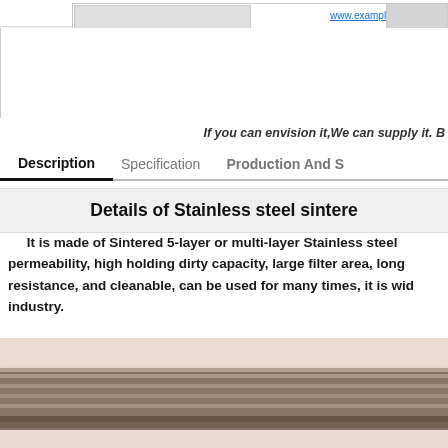[Figure (screenshot): Top portion of a product listing webpage showing a product thumbnail, a blue hyperlink, and a red Add to Cart button on the right side]
If you can envision it,We can supply it. B
Description   Specification   Production And S
Details of Stainless steel sintere
It is made of Sintered 5-layer or multi-layer Stainless steel permeability, high holding dirty capacity, large filter area, long resistance, and cleanable, can be used for many times, it is wid industry.
[Figure (photo): Close-up macro photograph of stainless steel sintered mesh filter material showing interlocking woven metal layers with a beige/cream background]